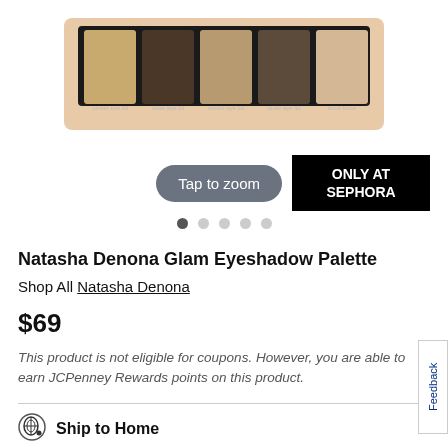[Figure (photo): Natasha Denona Glam Eyeshadow Palette product image showing 5 eyeshadow pans labeled center eye lid, outer eye lid, center eye lid, outer eye lid, brow bone]
Tap to zoom
ONLY AT SEPHORA
Natasha Denona Glam Eyeshadow Palette
Shop All Natasha Denona
$69
This product is not eligible for coupons. However, you are able to earn JCPenney Rewards points on this product.
Ship to Home
Get it by Sep 1st - Sep 6th
Online Only